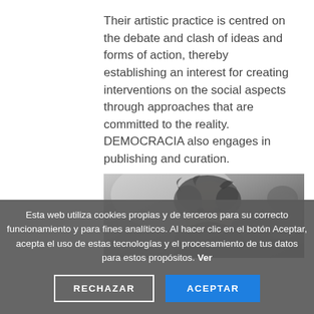Their artistic practice is centred on the debate and clash of ideas and forms of action, thereby establishing an interest for creating interventions on the social aspects through approaches that are committed to the reality. DEMOCRACIA also engages in publishing and curation.
[Figure (photo): Black and white photograph of a person with curly hair, partially cropped, showing face and upper body against a light background.]
Esta web utiliza cookies propias y de terceros para su correcto funcionamiento y para fines analíticos. Al hacer clic en el botón Aceptar, acepta el uso de estas tecnologías y el procesamiento de tus datos para estos propósitos. Ver
RECHAZAR
ACEPTAR